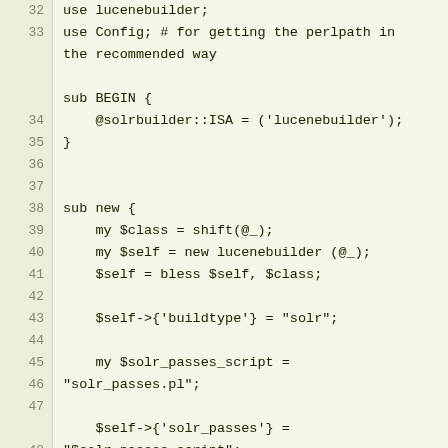32  use lucenebuilder;
33  use Config; # for getting the perlpath in the recommended way
34
35  sub BEGIN {
36      @solrbuilder::ISA = ('lucenebuilder');
37  }
38
39
40  sub new {
41      my $class = shift(@_);
42      my $self = new lucenebuilder (@_);
43      $self = bless $self, $class;
44
45      $self->{'buildtype'} = "solr";
46
47      my $solr_passes_script = "solr_passes.pl";
48
49      $self->{'solr_passes'} = "$solr_passes_script";
50      # Tack perl on the beginning to ensure execution
51      $self->{'solr_passes_exe'} =